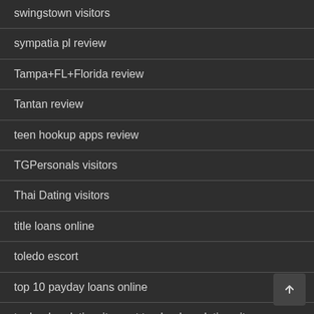swingstown visitors
sympatia pl review
Tampa+FL+Florida review
Tantan review
teen hookup apps review
TGPersonals visitors
Thai Dating visitors
title loans online
toledo escort
top 10 payday loans online
tophookupdatingsites.net top hookup dating sites
tsdates visitors